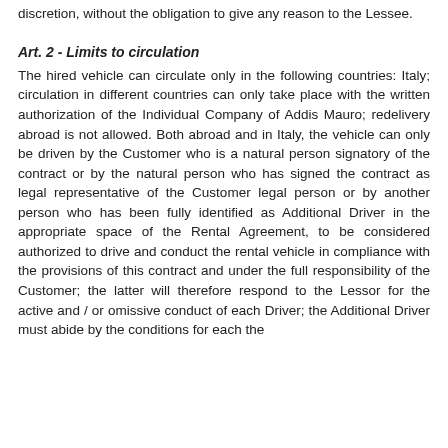discretion, without the obligation to give any reason to the Lessee.
Art. 2 - Limits to circulation
The hired vehicle can circulate only in the following countries: Italy; circulation in different countries can only take place with the written authorization of the Individual Company of Addis Mauro; redelivery abroad is not allowed. Both abroad and in Italy, the vehicle can only be driven by the Customer who is a natural person signatory of the contract or by the natural person who has signed the contract as legal representative of the Customer legal person or by another person who has been fully identified as Additional Driver in the appropriate space of the Rental Agreement, to be considered authorized to drive and conduct the rental vehicle in compliance with the provisions of this contract and under the full responsibility of the Customer; the latter will therefore respond to the Lessor for the active and / or omissive conduct of each Driver; the Additional Driver must abide by the conditions for each the